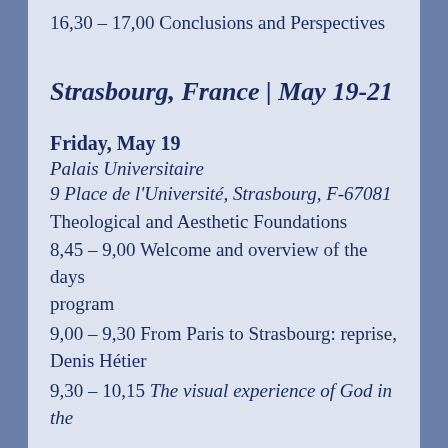16,30 – 17,00 Conclusions and Perspectives
Strasbourg, France | May 19-21
Friday, May 19
Palais Universitaire
9 Place de l’Université, Strasbourg, F-67081
Theological and Aesthetic Foundations
8,45 – 9,00 Welcome and overview of the days program
9,00 – 9,30 From Paris to Strasbourg: reprise, Denis Hétier
9,30 – 10,15 The visual experience of God in the